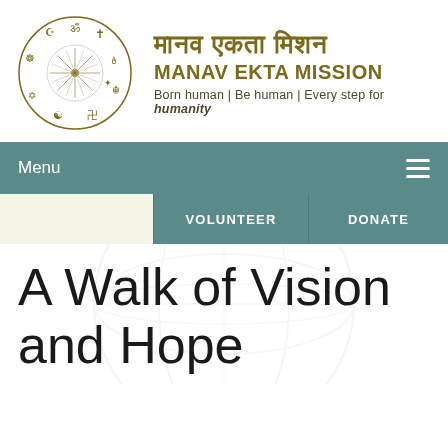[Figure (logo): Manav Ekta Mission circular logo with religious symbols including Om, Cross, Crescent, Wheel of Dharma, Khanda, Star of David, Swastika, Yin-Yang, and a central radiating sun/star]
मानव एकता मिशन
MANAV EKTA MISSION
Born human | Be human | Every step for humanity
Menu
VOLUNTEER
DONATE
A Walk of Vision and Hope